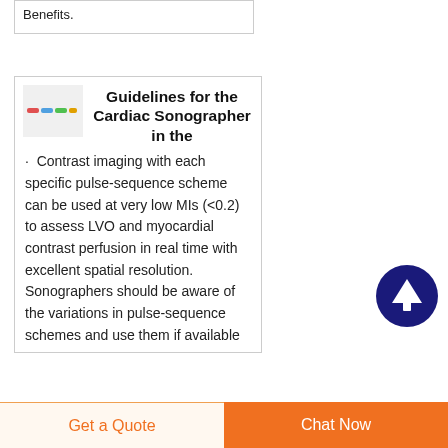Benefits.
Guidelines for the Cardiac Sonographer in the
Contrast imaging with each specific pulse-sequence scheme can be used at very low MIs (<0.2) to assess LVO and myocardial contrast perfusion in real time with excellent spatial resolution. Sonographers should be aware of the variations in pulse-sequence schemes and use them if available
Get a Quote  |  Chat Now